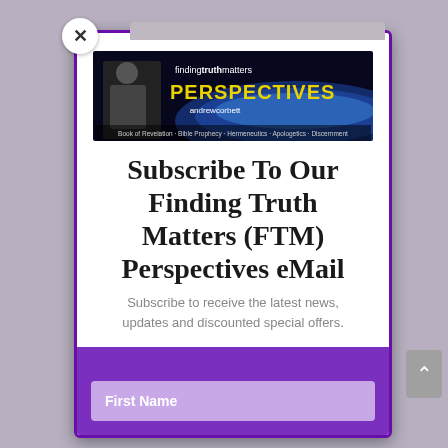[Figure (screenshot): A modal popup dialog for subscribing to Finding Truth Matters (FTM) Perspectives email newsletter. Contains a banner image with 'findingtruthmatters PERSPECTIVES andrewcorbett' branding, a large stylized title, descriptive text, and a First Name input field at the bottom on a purple background.]
Subscribe To Our Finding Truth Matters (FTM) Perspectives eMail
Subscribe to receive the latest news, updates and discounted special offers.
First Name